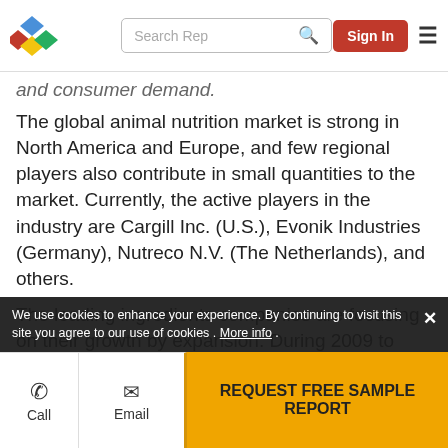Search Rep | Sign In
and consumer demand.
The global animal nutrition market is strong in North America and Europe, and few regional players also contribute in small quantities to the market. Currently, the active players in the industry are Cargill Inc. (U.S.), Evonik Industries (Germany), Nutreco N.V. (The Netherlands), and others.
The leading ingredients companies are focusing on their growth by expansion. During 2009 to 2013, expansion has been the leading growth strategy for the animal nutrition market accounting for almost 43% share of the total developments in the market. The focus on strategic
We use cookies to enhance your experience. By continuing to visit this site you agree to our use of cookies . More info .
Call | Email | REQUEST FREE SAMPLE REPORT